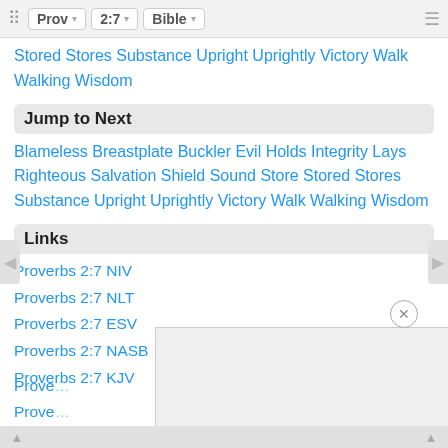⠿ Prov ▾ 2:7 ▾ Bible ▾ ≡
Stored Stores Substance Upright Uprightly Victory Walk Walking Wisdom
Jump to Next
Blameless Breastplate Buckler Evil Holds Integrity Lays Righteous Salvation Shield Sound Store Stored Stores Substance Upright Uprightly Victory Walk Walking Wisdom
Links
Proverbs 2:7 NIV
Proverbs 2:7 NLT
Proverbs 2:7 ESV
Proverbs 2:7 NASB
Proverbs 2:7 KJV
Prove…
Prove…